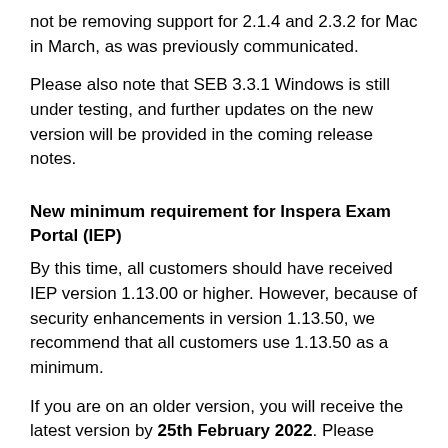not be removing support for 2.1.4 and 2.3.2 for Mac in March, as was previously communicated.
Please also note that SEB 3.3.1 Windows is still under testing, and further updates on the new version will be provided in the coming release notes.
New minimum requirement for Inspera Exam Portal (IEP)
By this time, all customers should have received IEP version 1.13.00 or higher. However, because of security enhancements in version 1.13.50, we recommend that all customers use 1.13.50 as a minimum.
If you are on an older version, you will receive the latest version by 25th February 2022. Please contact your customer owner if you have not received version 1.13.50 or above by then. The minimum version will be set to 1.13.50